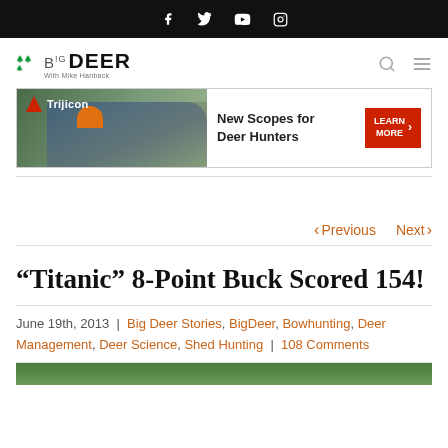Social media icons: Facebook, Twitter, YouTube, Instagram
[Figure (logo): Big Deer with Mike Hanback logo]
[Figure (photo): Trijicon advertisement banner: hunter aiming rifle, text 'New Scopes for Deer Hunters' with LEARN MORE button]
< Previous   Next >
“Titanic” 8-Point Buck Scored 154!
June 19th, 2013  |  Big Deer Stories, BigDeer, Bowhunting, Deer Management, Deer Science, Shed Hunting  |  108 Comments